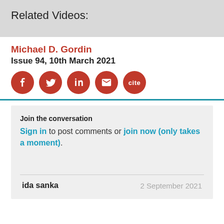Related Videos:
Michael D. Gordin
Issue 94, 10th March 2021
[Figure (infographic): Row of five red circular social sharing buttons: Facebook, Twitter, LinkedIn, Email, and Cite]
Join the conversation
Sign in to post comments or join now (only takes a moment).
ida sanka
2 September 2021